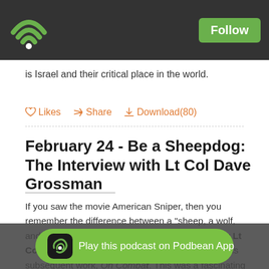Podbean podcast app header with WiFi logo and Follow button
is Israel and their critical place in the world.
♡Likes  Share  ↓Download(80)
February 24 - Be a Sheepdog: The Interview with Lt Col Dave Grossman
If you saw the movie American Sniper, then you remember the difference between a "sheep, a wolf, and a sheepdog." This terminology was coined by Lt Col Dave Grossman in his book, On Killing and his subsequent work, On Combat. This was a fascinating conversation about the psychological affect of violence ... Col Grossman now teaches Sheepdog Seminars all over the
[Figure (screenshot): Podbean app floating banner: Play this podcast on Podbean App]